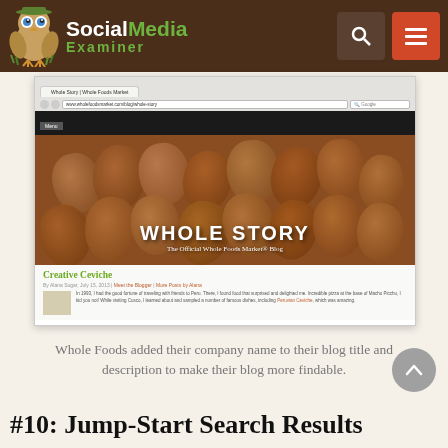Social Media Examiner
[Figure (screenshot): Screenshot of the Whole Story blog by Whole Foods Market, showing a browser window with the blog header featuring eggs and the text 'WHOLE STORY - The Official Whole Foods Market® Blog', and a blog post titled 'Creative Ceviche']
Whole Foods added their company name to their blog title and description to make their blog more findable.
#10: Jump-Start Search Results